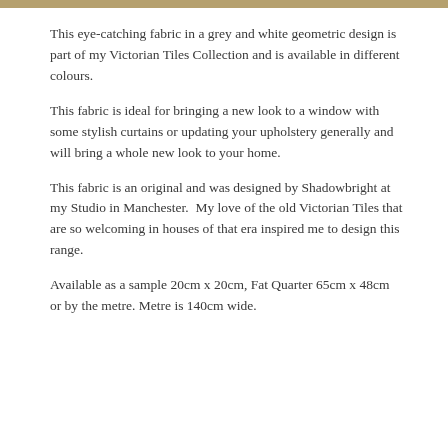[Figure (other): Decorative gold/tan horizontal bar at the top of the page]
This eye-catching fabric in a grey and white geometric design is part of my Victorian Tiles Collection and is available in different colours.
This fabric is ideal for bringing a new look to a window with some stylish curtains or updating your upholstery generally and will bring a whole new look to your home.
This fabric is an original and was designed by Shadowbright at my Studio in Manchester.  My love of the old Victorian Tiles that are so welcoming in houses of that era inspired me to design this range.
Available as a sample 20cm x 20cm, Fat Quarter 65cm x 48cm or by the metre. Metre is 140cm wide.